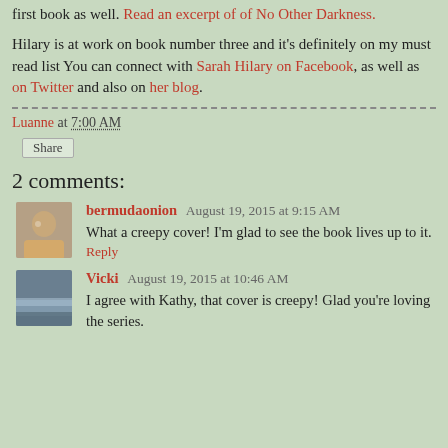first book as well. Read an excerpt of of No Other Darkness.
Hilary is at work on book number three and it's definitely on my must read list You can connect with Sarah Hilary on Facebook, as well as on Twitter and also on her blog.
Luanne at 7:00 AM
Share
2 comments:
bermudaonion August 19, 2015 at 9:15 AM
What a creepy cover! I'm glad to see the book lives up to it.
Reply
Vicki August 19, 2015 at 10:46 AM
I agree with Kathy, that cover is creepy! Glad you're loving the series.